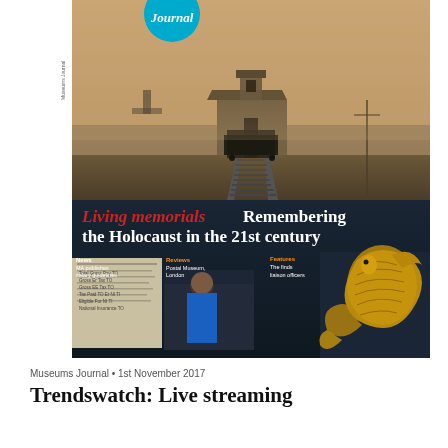[Figure (photo): Magazine cover of Museums Journal showing a railway track leading to a guard tower at Auschwitz concentration camp in a hazy/foggy atmosphere, overlaid with the headline text. The bottom portion shows three smaller images: a form/document, a person working in a museum setting, and a decorative animal artifact. Cyan circle logo at top with 'Journal' text.]
Museums Journal • 1st November 2017
Trendswatch: Live streaming